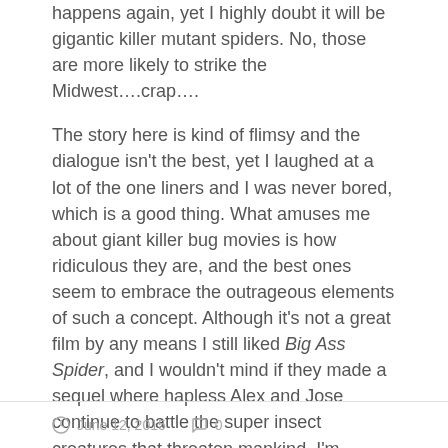happens again, yet I highly doubt it will be gigantic killer mutant spiders. No, those are more likely to strike the Midwest….crap….
The story here is kind of flimsy and the dialogue isn't the best, yet I laughed at a lot of the one liners and I was never bored, which is a good thing. What amuses me about giant killer bug movies is how ridiculous they are, and the best ones seem to embrace the outrageous elements of such a concept. Although it's not a great film by any means I still liked Big Ass Spider, and I wouldn't mind if they made a sequel where hapless Alex and Jose continue to battle the super insect creatures that threaten mankind. I'm surprised that more movies don't exist where an exterminator has to defeat a huge bug-after all, they deal with the little ones on a regular basis.
June 12, 2015   0